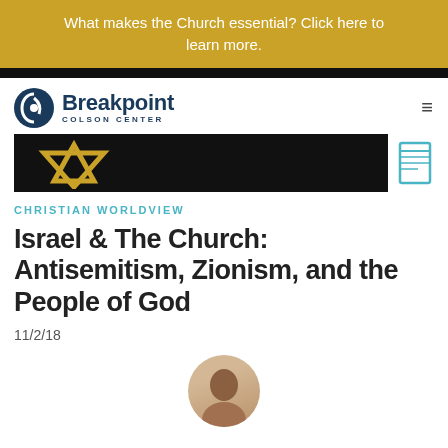What makes the Church essential? Click here to learn more.
[Figure (logo): Breakpoint Colson Center logo with circular icon]
[Figure (photo): Article hero image on black background showing a Star of David in gold, with a bookmark icon to the right]
CHRISTIAN WORLDVIEW
Israel & The Church: Antisemitism, Zionism, and the People of God
11/2/18
[Figure (photo): Circular author portrait photo at bottom center]